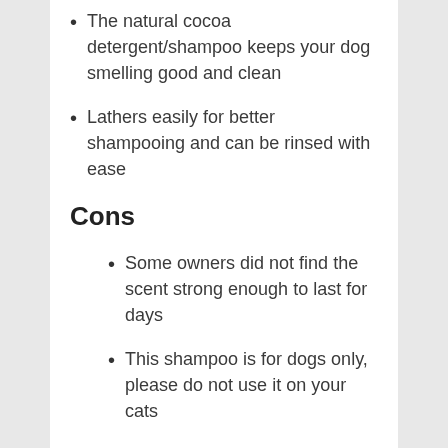The natural cocoa detergent/shampoo keeps your dog smelling good and clean
Lathers easily for better shampooing and can be rinsed with ease
Cons
Some owners did not find the scent strong enough to last for days
This shampoo is for dogs only, please do not use it on your cats